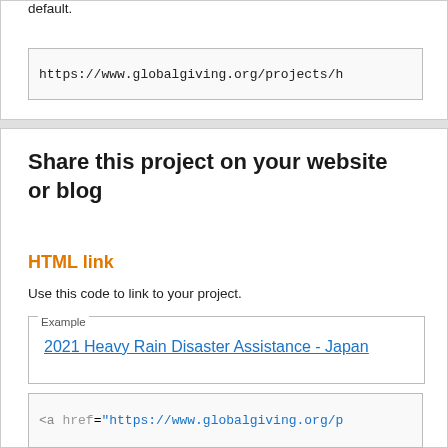default.
https://www.globalgiving.org/projects/h
Share this project on your website or blog
HTML link
Use this code to link to your project.
Example
2021 Heavy Rain Disaster Assistance - Japan
<a href="https://www.globalgiving.org/p